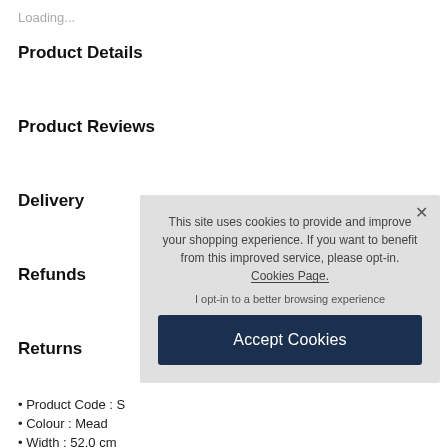Loading...
Product Details
Product Reviews
Delivery
Refunds
Returns
• Product Code : S...
• Colour : Mead...
• Width : 52.0 cm...
• Length : 10.05...
• Horizontal Pattern Repeat : 0.0 cm
This site uses cookies to provide and improve your shopping experience. If you want to benefit from this improved service, please opt-in. Cookies Page.
I opt-in to a better browsing experience
Accept Cookies